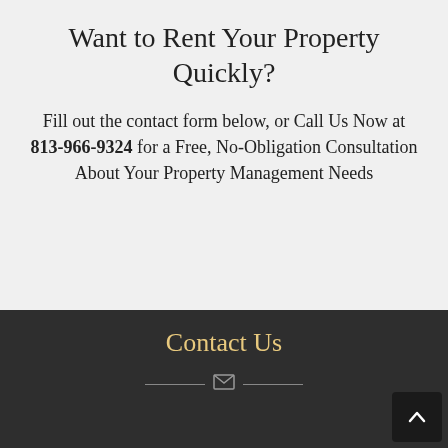Want to Rent Your Property Quickly?
Fill out the contact form below, or Call Us Now at 813-966-9324 for a Free, No-Obligation Consultation About Your Property Management Needs
Contact Us
[Figure (other): Envelope icon with horizontal lines on either side, decorative divider element]